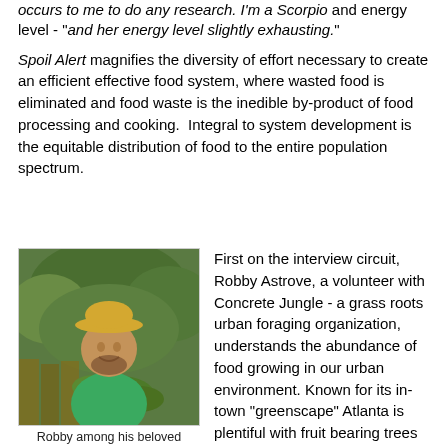occurs to me to do any research. I'm a Scorpio and energy level - "and her energy level slightly exhausting."
Spoil Alert magnifies the diversity of effort necessary to create an efficient effective food system, where wasted food is eliminated and food waste is the inedible by-product of food processing and cooking.  Integral to system development is the equitable distribution of food to the entire population spectrum.
[Figure (photo): A man wearing a yellow hat and green t-shirt, smiling, holding leafy branches, standing in front of green foliage and a wooden fence outdoors.]
Robby among his beloved
First on the interview circuit, Robby Astrove, a volunteer with Concrete Jungle - a grass roots urban foraging organization, understands the abundance of food growing in our urban environment. Known for its in-town "greenscape" Atlanta is plentiful with fruit bearing trees whose bounty is now harvested  by Concrete